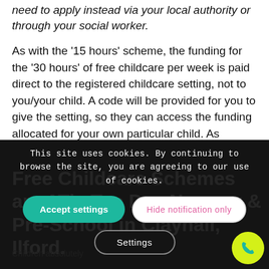need to apply instead via your local authority or through your social worker.
As with the '15 hours' scheme, the funding for the '30 hours' of free childcare per week is paid direct to the registered childcare setting, not to you/your child. A code will be provided for you to give the setting, so they can access the funding allocated for your own particular child. As before, claims cannot be backdated.
This site uses cookies. By continuing to browse the site, you are agreeing to our use of cookies.
Accept settings
Hide notification only
Settings
Free Childcare Schemes are Available at Tic Toc Day Nursery & Pre-School in Clayhall, Ilford.
Children absolutely
flourish at Tic Toc and we